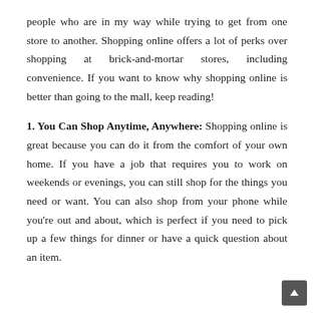people who are in my way while trying to get from one store to another. Shopping online offers a lot of perks over shopping at brick-and-mortar stores, including convenience. If you want to know why shopping online is better than going to the mall, keep reading!
1. You Can Shop Anytime, Anywhere: Shopping online is great because you can do it from the comfort of your own home. If you have a job that requires you to work on weekends or evenings, you can still shop for the things you need or want. You can also shop from your phone while you're out and about, which is perfect if you need to pick up a few things for dinner or have a quick question about an item.